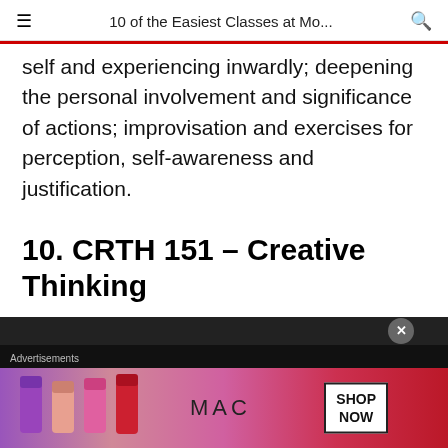10 of the Easiest Classes at Mo...
self and experiencing inwardly; deepening the personal involvement and significance of actions; improvisation and exercises for perception, self-awareness and justification.
10. CRTH 151 – Creative Thinking
This course is an opportunity for students to access and
[Figure (advertisement): MAC cosmetics advertisement showing lipsticks with SHOP NOW call to action]
Advertisements